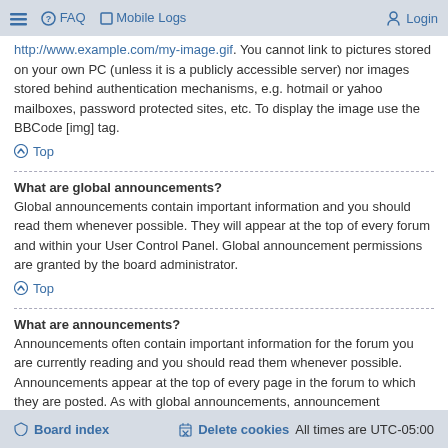≡  FAQ  Mobile Logs  Login
...on a publicly accessible server, you cannot link to pictures stored on your own PC (unless it is a publicly accessible server) nor images stored behind authentication mechanisms, e.g. hotmail or yahoo mailboxes, password protected sites, etc. To display the image use the BBCode [img] tag.
↑ Top
What are global announcements?
Global announcements contain important information and you should read them whenever possible. They will appear at the top of every forum and within your User Control Panel. Global announcement permissions are granted by the board administrator.
↑ Top
What are announcements?
Announcements often contain important information for the forum you are currently reading and you should read them whenever possible. Announcements appear at the top of every page in the forum to which they are posted. As with global announcements, announcement permissions are granted by the board administrator.
↑ Top
Board index   Delete cookies   All times are UTC-05:00